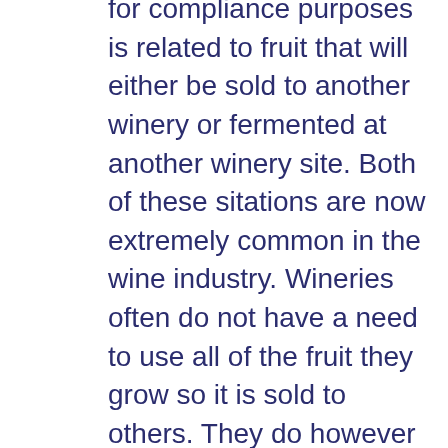for compliance purposes is related to fruit that will either be sold to another winery or fermented at another winery site. Both of these sitations are now extremely common in the wine industry. Wineries often do not have a need to use all of the fruit they grow so it is sold to others. They do however want the details on when the fruit was harvested, how much was harvested (weight), and who it went to, all of which is kept track of by their compliance systems. In the case that a winery is sending some its fruit to another winery site where it will be fermented here again all the details from start to finish in that process are maintained by their recordkeeping system. Just as a vineyard is maitained throughout the year to ensure it is healthy and productive the compliance systems that tie-in to the eventual product from those vineyards require the same ongoing attention and